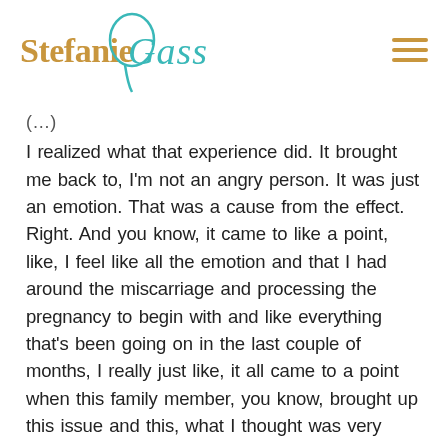Stefanie Gass [logo]
(…) I realized what that experience did. It brought me back to, I'm not an angry person. It was just an emotion. That was a cause from the effect. Right. And you know, it came to like a point, like, I feel like all the emotion and that I had around the miscarriage and processing the pregnancy to begin with and like everything that's been going on in the last couple of months, I really just like, it all came to a point when this family member, you know, brought up this issue and this, what I thought was very